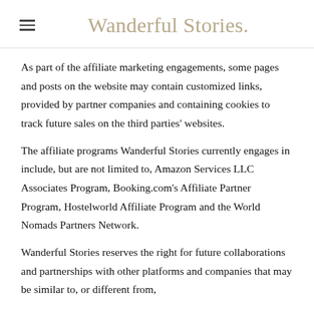Wanderful Stories.
As part of the affiliate marketing engagements, some pages and posts on the website may contain customized links, provided by partner companies and containing cookies to track future sales on the third parties' websites.
The affiliate programs Wanderful Stories currently engages in include, but are not limited to, Amazon Services LLC Associates Program, Booking.com's Affiliate Partner Program, Hostelworld Affiliate Program and the World Nomads Partners Network.
Wanderful Stories reserves the right for future collaborations and partnerships with other platforms and companies that may be similar to, or different from,